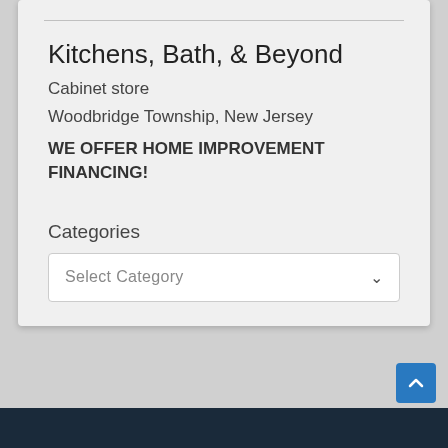Kitchens, Bath, & Beyond
Cabinet store
Woodbridge Township, New Jersey
WE OFFER HOME IMPROVEMENT FINANCING!
Categories
Select Category